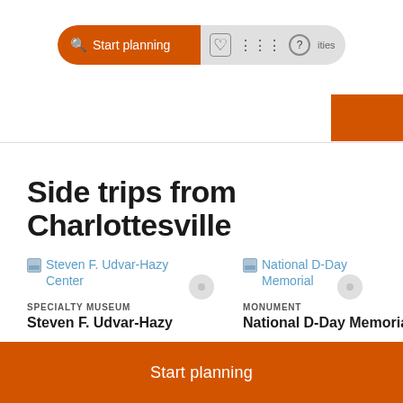Start planning  activities
Side trips from Charlottesville
[Figure (screenshot): Broken image placeholder for Steven F. Udvar-Hazy Center with link text]
[Figure (screenshot): Broken image placeholder for National D-Day Memorial with link text]
SPECIALTY MUSEUM
Steven F. Udvar-Hazy
MONUMENT
National D-Day Memorial
Start planning